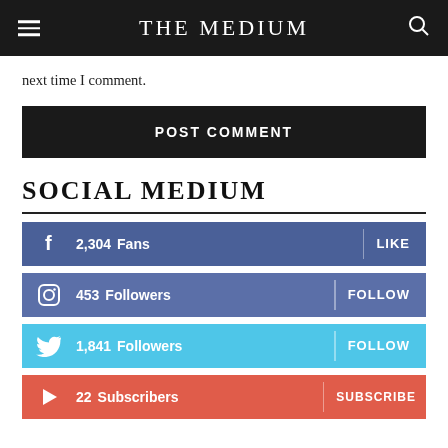THE MEDIUM
next time I comment.
POST COMMENT
SOCIAL MEDIUM
2,304  Fans   LIKE
453  Followers   FOLLOW
1,841  Followers   FOLLOW
22  Subscribers   SUBSCRIBE